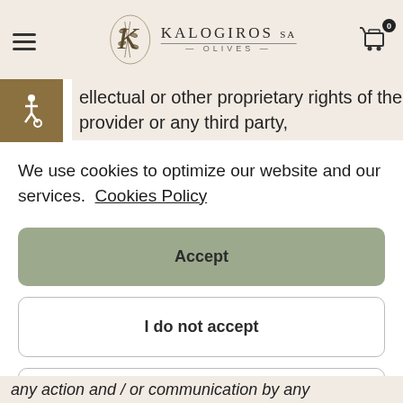KALOGIROS SA OLIVES
ellectual or other proprietary rights of the provider or any third party,
We use cookies to optimize our website and our services.  Cookies Policy
Accept
I do not accept
Preferences
any action and / or communication by any